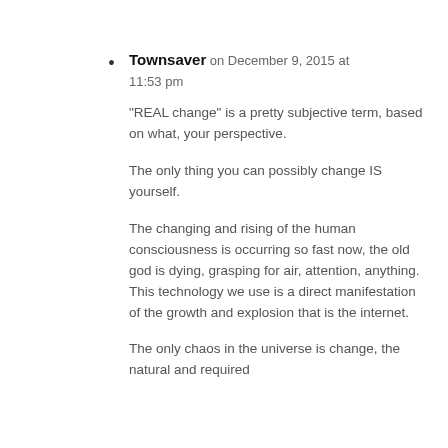Townsaver on December 9, 2015 at 11:53 pm

“REAL change” is a pretty subjective term, based on what, your perspective.

The only thing you can possibly change IS yourself.

The changing and rising of the human consciousness is occurring so fast now, the old god is dying, grasping for air, attention, anything. This technology we use is a direct manifestation of the growth and explosion that is the internet.

The only chaos in the universe is change, the natural and required